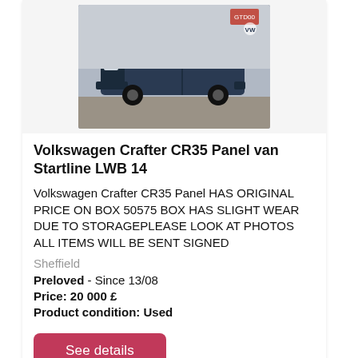[Figure (photo): Photo of a dark blue Volkswagen Crafter CR35 Panel Van (LWB), shot from front-left angle in a car park or dealer forecourt.]
Volkswagen Crafter CR35 Panel van Startline LWB 14
Volkswagen Crafter CR35 Panel HAS ORIGINAL PRICE ON BOX 50575 BOX HAS SLIGHT WEAR DUE TO STORAGEPLEASE LOOK AT PHOTOS ALL ITEMS WILL BE SENT SIGNED
Sheffield
Preloved  - Since 13/08
Price: 20 000 £
Product condition: Used